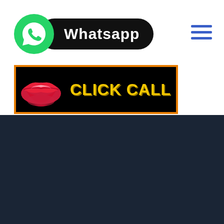[Figure (logo): WhatsApp logo with green circle icon and black pill-shaped label reading 'Whatsapp']
[Figure (other): Black banner with orange border showing red lips illustration and yellow bold text 'CLICK CALL']
Mungeli Call Girl
Narayanpur Call Girl
Raigarh Call Girl
Raipur Call Girl
Rajnandgaon Call Girl
Sukma Call Girl